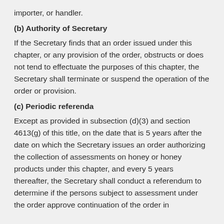importer, or handler.
(b) Authority of Secretary
If the Secretary finds that an order issued under this chapter, or any provision of the order, obstructs or does not tend to effectuate the purposes of this chapter, the Secretary shall terminate or suspend the operation of the order or provision.
(c) Periodic referenda
Except as provided in subsection (d)(3) and section 4613(g) of this title, on the date that is 5 years after the date on which the Secretary issues an order authorizing the collection of assessments on honey or honey products under this chapter, and every 5 years thereafter, the Secretary shall conduct a referendum to determine if the persons subject to assessment under the order approve continuation of the order in accordance with section 4611 of this title.